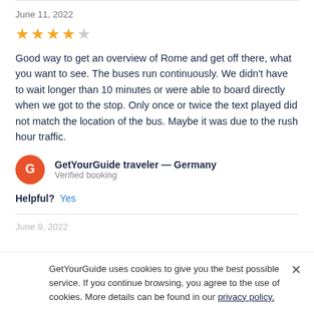June 11, 2022
[Figure (other): 4-star rating: 4 filled gold stars and 1 empty/gray star]
Good way to get an overview of Rome and get off there, what you want to see. The buses run continuously. We didn't have to wait longer than 10 minutes or were able to board directly when we got to the stop. Only once or twice the text played did not match the location of the bus. Maybe it was due to the rush hour traffic.
GetYourGuide traveler — Germany
Verified booking
Helpful? Yes
June 9, 2022
GetYourGuide uses cookies to give you the best possible service. If you continue browsing, you agree to the use of cookies. More details can be found in our privacy policy.